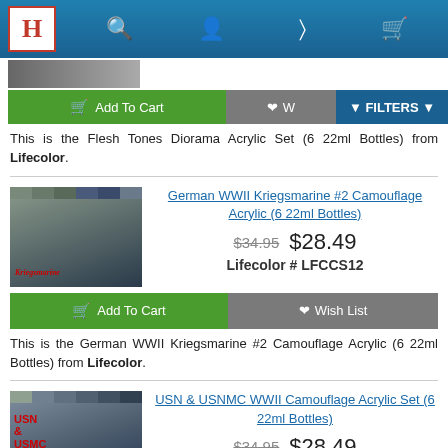History Channel store navigation bar with logo, search, account, share, and cart icons
This is the Flesh Tones Diorama Acrylic Set (6 22ml Bottles) from Lifecolor.
German WWII Kriegsmarine #2 Camouflage Acrylic (6 22ml Bottles)
$34.95  $28.49
Lifecolor # LFCCS12
This is the German WWII Kriegsmarine #2 Camouflage Acrylic (6 22ml Bottles) from Lifecolor.
USN & USNMC WWII Camouflage Acrylic Set (6 22ml Bottles)
$34.95  $28.49